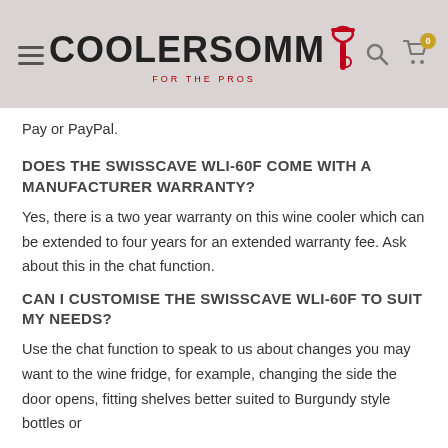COOLERSOMM FOR THE PROS
Pay or PayPal.
DOES THE SWISSCAVE WLI-60F COME WITH A MANUFACTURER WARRANTY?
Yes, there is a two year warranty on this wine cooler which can be extended to four years for an extended warranty fee. Ask about this in the chat function.
CAN I CUSTOMISE THE SWISSCAVE WLI-60F TO SUIT MY NEEDS?
Use the chat function to speak to us about changes you may want to the wine fridge, for example, changing the side the door opens, fitting shelves better suited to Burgundy style bottles or